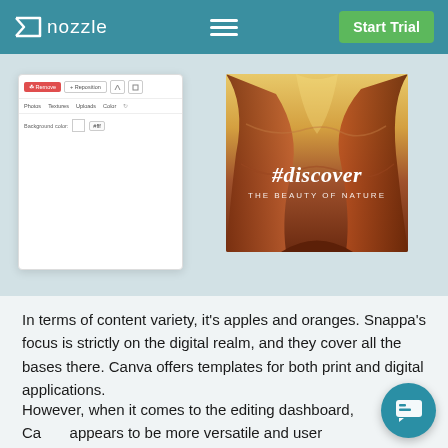nozzle — Start Trial
[Figure (screenshot): Screenshot of a design editor interface on the left showing toolbar with Remove and Reposition buttons, tabs for Photos/Textures/Uploads/Color, and a background color field showing #fff. On the right is a sample image overlaid with '#discover THE BEAUTY OF NATURE' text on a canyon background photo.]
In terms of content variety, it's apples and oranges. Snappa's focus is strictly on the digital realm, and they cover all the bases there. Canva offers templates for both print and digital applications.
However, when it comes to the editing dashboard, Canva appears to be more versatile and user friendly as well. The